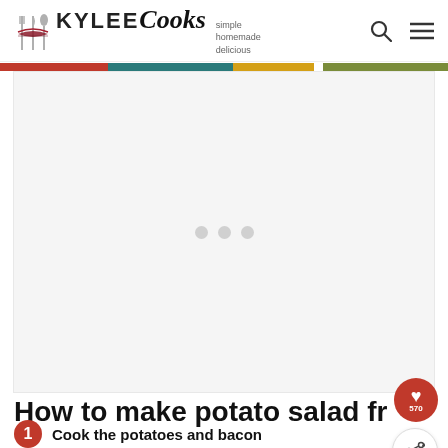KYLEE Cooks — simple homemade delicious
[Figure (other): Advertisement placeholder with three gray dots centered on light gray background]
How to make potato salad from scratch
1. Cook the potatoes and bacon